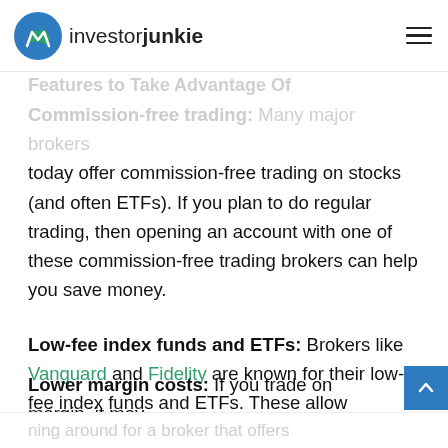investorjunkie
Features to Take Advantage Of
Commission-free trading: Many major brokers today offer commission-free trading on stocks (and often ETFs). If you plan to do regular trading, then opening an account with one of these commission-free trading brokers can help you save money.
Low-fee index funds and ETFs: Brokers like Vanguard and Fidelity are known for their low-fee index funds and ETFs. These allow investors to save money and diversify their portfolios while investing for the long term.
Lower margin costs: If you trade on margin, it may be worth shopping around for a broker that offers…